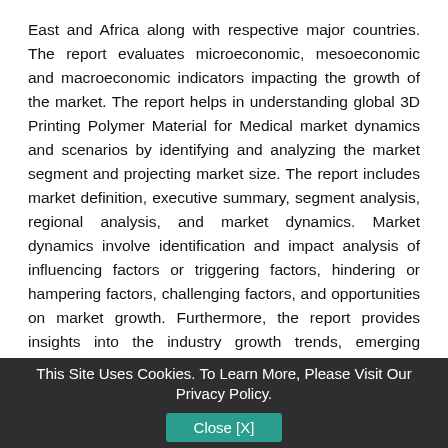East and Africa along with respective major countries. The report evaluates microeconomic, mesoeconomic and macroeconomic indicators impacting the growth of the market. The report helps in understanding global 3D Printing Polymer Material for Medical market dynamics and scenarios by identifying and analyzing the market segment and projecting market size. The report includes market definition, executive summary, segment analysis, regional analysis, and market dynamics. Market dynamics involve identification and impact analysis of influencing factors or triggering factors, hindering or hampering factors, challenging factors, and opportunities on market growth. Furthermore, the report provides insights into the industry growth trends, emerging technologies, and innovations. The report also provides Porter's analysis, Value Chain Analysis, COVID-19 Impact Analysis, and addresses the question of shareholders and decision-makers which help them prioritize the efforts and investment in the near future to emerging segments in the global 3D Printing Polymer Material for Medical market.
This Site Uses Cookies. To Learn More, Please Visit Our Privacy Policy. Close [X]